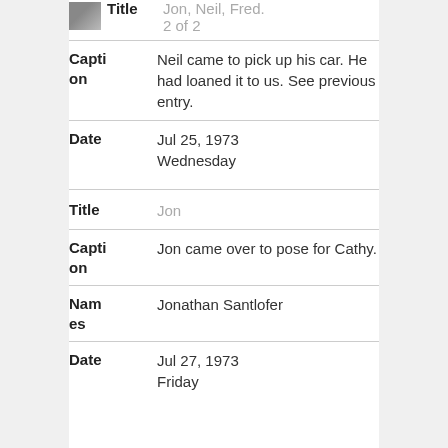| Field | Value |
| --- | --- |
| Title | Jon, Neil, Fred. 2 of 2 |
| Caption | Neil came to pick up his car. He had loaned it to us. See previous entry. |
| Date | Jul 25, 1973 Wednesday |
| Field | Value |
| --- | --- |
| Title | Jon |
| Caption | Jon came over to pose for Cathy. |
| Names | Jonathan Santlofer |
| Date | Jul 27, 1973 Friday |